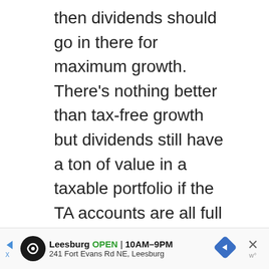then dividends should go in there for maximum growth. There's nothing better than tax-free growth but dividends still have a ton of value in a taxable portfolio if the TA accounts are all full up.
Reply
Tawcan
September 5, 2016 at 12:01 pm
[Figure (other): Advertisement bar for Leesburg: OPEN 10AM-9PM, 241 Fort Evans Rd NE, Leesburg with navigation arrow icon]